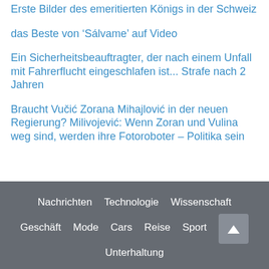Erste Bilder des emeritierten Königs in der Schweiz
das Beste von 'Sálvame' auf Video
Ein Sicherheitsbeauftragter, der nach einem Unfall mit Fahrerflucht eingeschlafen ist... Strafe nach 2 Jahren
Braucht Vučić Zorana Mihajlović in der neuen Regierung? Milivojević: Wenn Zoran und Vulina weg sind, werden ihre Fotoroboter – Politika sein
Nachrichten  Technologie  Wissenschaft  Geschäft  Mode  Cars  Reise  Sport  Unterhaltung